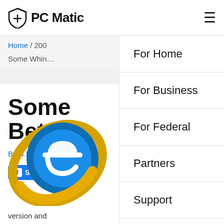PC Matic
Home / 200
Some Whine
Some Beta?
By S.Hogan
Share (Facebook, Twitter)
[Figure (logo): Internet Explorer logo icon]
version and
For Home
For Business
For Federal
Partners
Support
Company
My Account